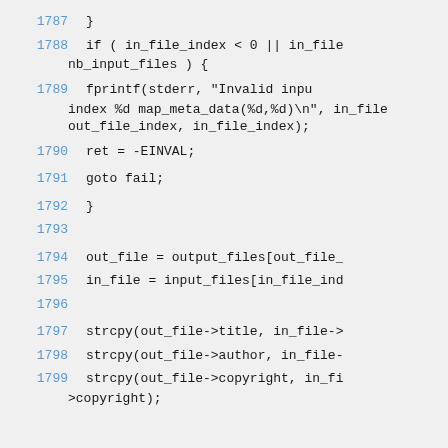1787    }
1788    if ( in_file_index < 0 || in_file... nb_input_files ) {
1789    fprintf(stderr, "Invalid inpu... index %d map_meta_data(%d,%d)\n", in_file... out_file_index, in_file_index);
1790    ret = -EINVAL;
1791    goto fail;
1792    }
1793
1794    out_file = output_files[out_file_...
1795    in_file = input_files[in_file_ind...
1796
1797    strcpy(out_file->title, in_file->...
1798    strcpy(out_file->author, in_file-...
1799    strcpy(out_file->copyright, in_fi... >copyright);